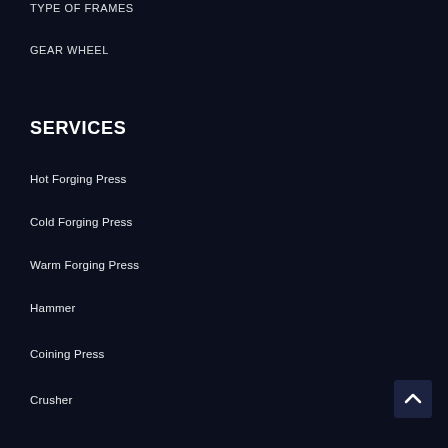TYPE OF FRAMES
GEAR WHEEL
SERVICES
Hot Forging Press
Cold Forging Press
Warm Forging Press
Hammer
Coining Press
Crusher